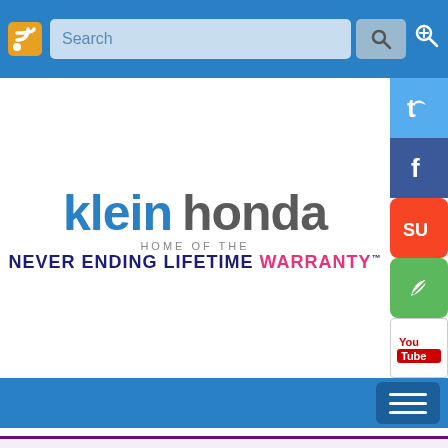Klein Honda — Home of the Never Ending Lifetime Warranty
[Figure (logo): Klein Honda logo: 'klein honda' in blue and grey large bold text, 'HOME OF THE' in small caps, 'NEVER ENDING LIFETIME WARRANTY™' in dark blue and pink bold uppercase text]
New 2018 Odyssey Available near Marysville
New 2018 HR-V Available near Marysville
New 2018 Ridgeline Available near Marysville
By Rory Klein in 2018, Honda, Klein Honda, Make, Model, Ridgeline